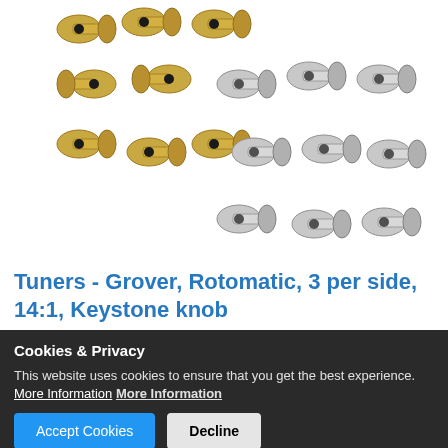[Figure (photo): Product photo showing two sets of guitar tuning machines (tuners). On the left side, a set of gold-colored Grover Rotomatic keystone knob tuners arranged in a 3+3 configuration. On the right side, a set of nickel/chrome colored Grover Rotomatic keystone knob tuners also in a 3+3 configuration.]
Tuners - Grover, Rotomatic, 3 per side, 14:1, Keystone knob
Cookies & Privacy
This website uses cookies to ensure that you get the best experience. More Information More Information